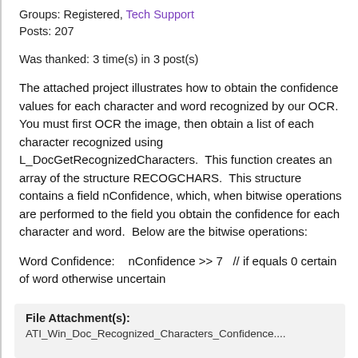Groups: Registered, Tech Support
Posts: 207
Was thanked: 3 time(s) in 3 post(s)
The attached project illustrates how to obtain the confidence values for each character and word recognized by our OCR.  You must first OCR the image, then obtain a list of each character recognized using L_DocGetRecognizedCharacters.  This function creates an array of the structure RECOGCHARS.  This structure contains a field nConfidence, which, when bitwise operations are performed to the field you obtain the confidence for each character and word.  Below are the bitwise operations:
File Attachment(s):